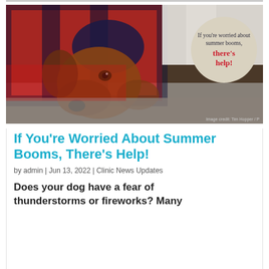[Figure (photo): A dachshund dog lying down wearing a red and black plaid blanket/sweater with a navy blue trim hat, looking at camera. A beige circle bubble overlaid on the top right reads 'If you're worried about summer booms, there's help!' with 'there's help!' in red bold text. Image credit: Tim Hopper / P]
If You're Worried About Summer Booms, There's Help!
by admin | Jun 13, 2022 | Clinic News Updates
Does your dog have a fear of thunderstorms or fireworks? Many